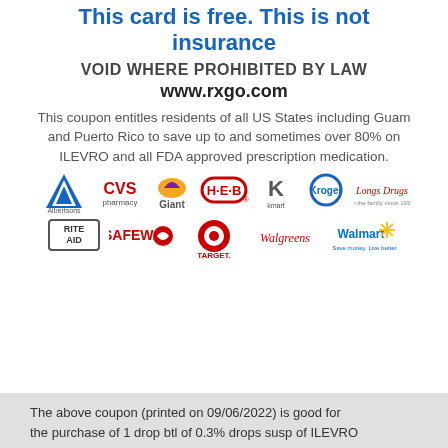This card is free. This is not insurance
VOID WHERE PROHIBITED BY LAW
www.rxgo.com
This coupon entitles residents of all US States including Guam and Puerto Rico to save up to and sometimes over 80% on ILEVRO and all FDA approved prescription medication.
[Figure (logo): Pharmacy logos: Albertsons, CVS pharmacy, Giant, H-E-B, Kmart, Kroger, Longs Drugs, Rite Aid, Safeway, Target, Walgreens, Walmart]
The above coupon (printed on 09/06/2022) is good for the purchase of 1 drop btl of 0.3% drops susp of ILEVRO